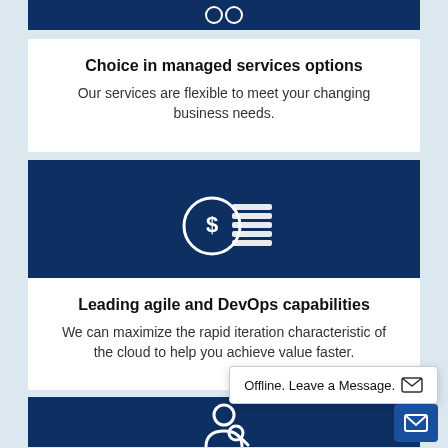[Figure (illustration): Dark blue banner at top (partially visible) with icon]
Choice in managed services options
Our services are flexible to meet your changing business needs.
[Figure (illustration): Dark blue banner with a coin/dollar stack icon in white]
Leading agile and DevOps capabilities
We can maximize the rapid iteration characteristic of the cloud to help you achieve value faster.
Offline. Leave a Message.
[Figure (illustration): Dark blue banner at bottom with person/search icon (partially visible)]